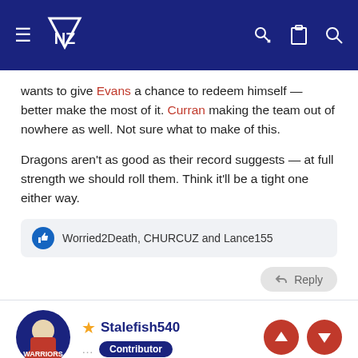NZ Warriors forum header with logo, hamburger menu, key, clipboard, and search icons
wants to give Evans a chance to redeem himself — better make the most of it. Curran making the team out of nowhere as well. Not sure what to make of this.

Dragons aren't as good as their record suggests — at full strength we should roll them. Think it'll be a tight one either way.
Worried2Death, CHURCUZ and Lance155
Reply
Stalefish540 Contributor
Apr 13, 2021  #51